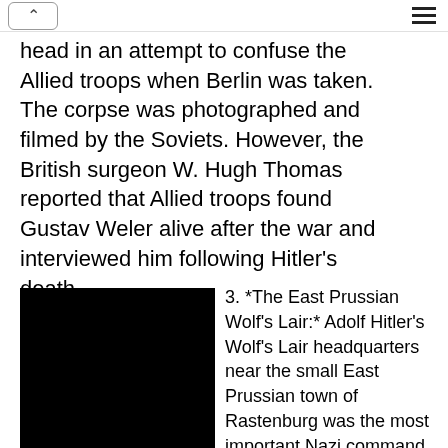head in an attempt to confuse the Allied troops when Berlin was taken. The corpse was photographed and filmed by the Soviets. However, the British surgeon W. Hugh Thomas reported that Allied troops found Gustav Weler alive after the war and interviewed him following Hitler's death.
[Figure (photo): A black rectangle representing a dark/blacked-out photograph, likely related to the Wolf's Lair or associated historical imagery.]
3. *The East Prussian Wolf's Lair:* Adolf Hitler's Wolf's Lair headquarters near the small East Prussian town of Rastenburg was the most important Nazi command post building during World War II. The Wolf's Lair doppelganger was the stenographer